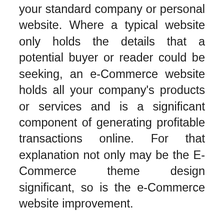your standard company or personal website. Where a typical website only holds the details that a potential buyer or reader could be seeking, an e-Commerce website holds all your company's products or services and is a significant component of generating profitable transactions online. For that explanation not only may be the E-Commerce theme design significant, so is the e-Commerce website improvement.
E-commerce theme design and development
The usage of a company theme is a fantastic way to bring in more e-Commerce and it